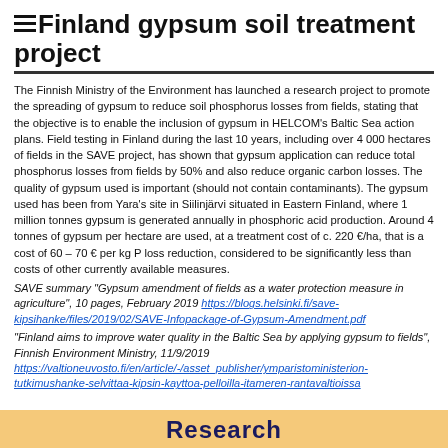Finland gypsum soil treatment project
The Finnish Ministry of the Environment has launched a research project to promote the spreading of gypsum to reduce soil phosphorus losses from fields, stating that the objective is to enable the inclusion of gypsum in HELCOM's Baltic Sea action plans. Field testing in Finland during the last 10 years, including over 4 000 hectares of fields in the SAVE project, has shown that gypsum application can reduce total phosphorus losses from fields by 50% and also reduce organic carbon losses. The quality of gypsum used is important (should not contain contaminants). The gypsum used has been from Yara's site in Siilinjärvi situated in Eastern Finland, where 1 million tonnes gypsum is generated annually in phosphoric acid production. Around 4 tonnes of gypsum per hectare are used, at a treatment cost of c. 220 €/ha, that is a cost of 60 – 70 € per kg P loss reduction, considered to be significantly less than costs of other currently available measures.
SAVE summary "Gypsum amendment of fields as a water protection measure in agriculture", 10 pages, February 2019 https://blogs.helsinki.fi/save-kipsihanke/files/2019/02/SAVE-Infopackage-of-Gypsum-Amendment.pdf
"Finland aims to improve water quality in the Baltic Sea by applying gypsum to fields", Finnish Environment Ministry, 11/9/2019 https://valtioneuvosto.fi/en/article/-/asset_publisher/ymparistoministerion-tutkimushanke-selvittaa-kipsin-kayttoa-pelloilla-itameren-rantavaltioissa
Research